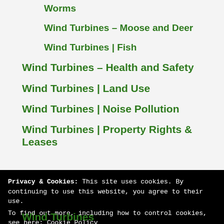Worms
Wind Turbines – Moose and Deer
Wind Turbines | Fish
Wind Turbines – Health and Safety
Wind Turbines | Land Use
Wind Turbines | Noise Pollution
Wind Turbines | Property Rights & Leases
Privacy & Cookies: This site uses cookies. By continuing to use this website, you agree to their use.
To find out more, including how to control cookies, see here: Cookie Policy
Wind Turbines